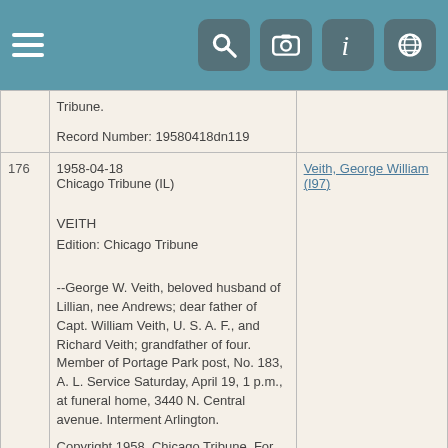[Figure (screenshot): Mobile app top navigation bar with teal/blue-green background, hamburger menu on left, and four icon buttons (search, camera, info, globe) on right]
| # | Record Info | Person |
| --- | --- | --- |
|  | Tribune.

Record Number: 19580418dn119 |  |
| 176 | 1958-04-18
Chicago Tribune (IL)

VEITH

Edition: Chicago Tribune

--George W. Veith, beloved husband of Lillian, nee Andrews; dear father of Capt. William Veith, U. S. A. F., and Richard Veith; grandfather of four. Member of Portage Park post, No. 183, A. L. Service Saturday, April 19, 1 p.m., at funeral home, 3440 N. Central avenue. Interment Arlington.

Copyright 1958, Chicago Tribune. For permission to reprint, contact Chicago Tribune.

Record Number: 19580418dn119 | Veith, George William (I97) |
| 177 | 1958-06-09
Chicago Tribune (IL) | Brockway, Laura Abi (I8218) |